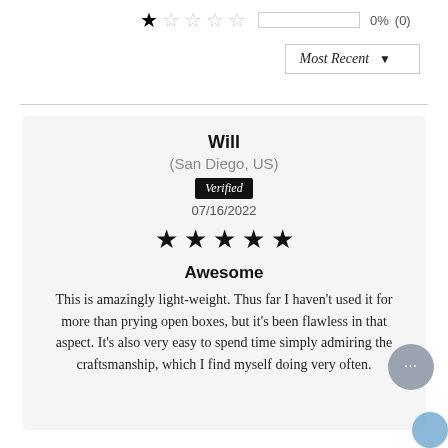1 star 0% (0)
Most Recent ▼
Will
(San Diego, US)
Verified
07/16/2022
★★★★★
Awesome
This is amazingly light-weight. Thus far I haven't used it for more than prying open boxes, but it's been flawless in that aspect. It's also very easy to spend time simply admiring the craftsmanship, which I find myself doing very often.